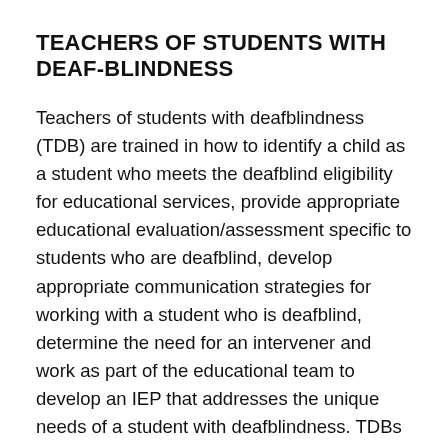TEACHERS OF STUDENTS WITH DEAF-BLINDNESS
Teachers of students with deafblindness (TDB) are trained in how to identify a child as a student who meets the deafblind eligibility for educational services, provide appropriate educational evaluation/assessment specific to students who are deafblind, develop appropriate communication strategies for working with a student who is deafblind, determine the need for an intervener and work as part of the educational team to develop an IEP that addresses the unique needs of a student with deafblindness. TDBs provide support for educational interveners by assisting the intervener in the process of employing the